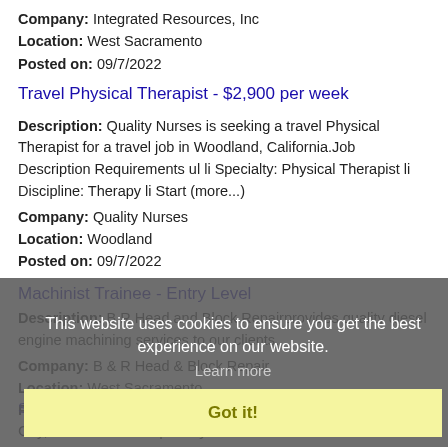Company: Integrated Resources, Inc
Location: West Sacramento
Posted on: 09/7/2022
Travel Physical Therapist - $2,900 per week
Description: Quality Nurses is seeking a travel Physical Therapist for a travel job in Woodland, California.Job Description Requirements ul li Specialty: Physical Therapist li Discipline: Therapy li Start (more...)
Company: Quality Nurses
Location: Woodland
Posted on: 09/7/2022
Machinist Trainee - Entry Level
Description: B R Head and Block Repairprovides quality diesel engine machining services to our clients.
Company: B & R Head & Block Repair
Location: West Sacramento
Posted on: 09/7/2022
This website uses cookies to ensure you get the best experience on our website.
Learn more
Got it!
Salary in Union City, California Area | More details for Union City, California Jobs |Salary